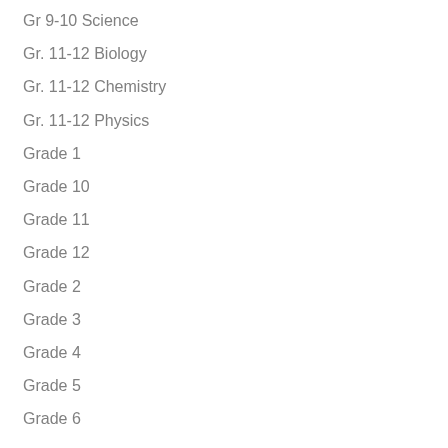Gr 9-10 Science
Gr. 11-12 Biology
Gr. 11-12 Chemistry
Gr. 11-12 Physics
Grade 1
Grade 10
Grade 11
Grade 12
Grade 2
Grade 3
Grade 4
Grade 5
Grade 6